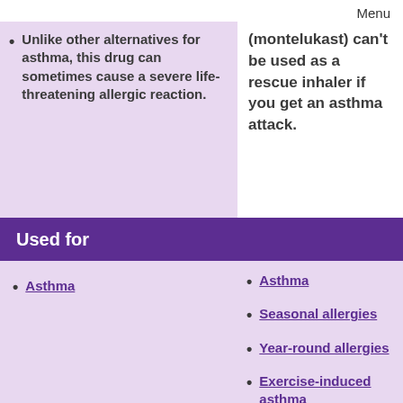Menu
Unlike other alternatives for asthma, this drug can sometimes cause a severe life-threatening allergic reaction.
(montelukast) can't be used as a rescue inhaler if you get an asthma attack.
Used for
Asthma
Asthma
Seasonal allergies
Year-round allergies
Exercise-induced asthma